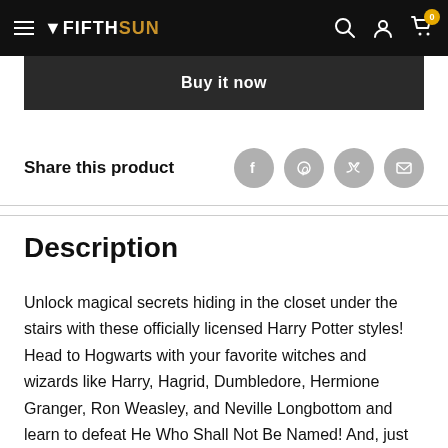VFIFTHSUN — navigation bar with hamburger menu, logo, search, account, and cart icons
Buy it now
Share this product
Description
Unlock magical secrets hiding in the closet under the stairs with these officially licensed Harry Potter styles! Head to Hogwarts with your favorite witches and wizards like Harry, Hagrid, Dumbledore, Hermione Granger, Ron Weasley, and Neville Longbottom and learn to defeat He Who Shall Not Be Named! And, just remember, the spell